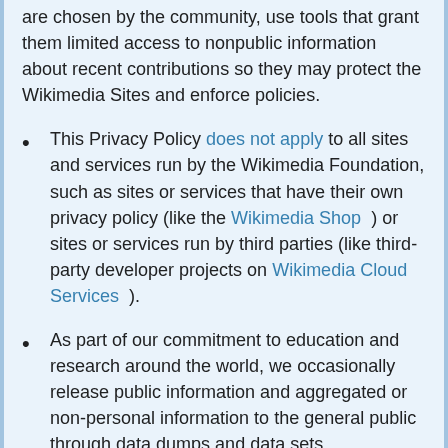are chosen by the community, use tools that grant them limited access to nonpublic information about recent contributions so they may protect the Wikimedia Sites and enforce policies.
This Privacy Policy does not apply to all sites and services run by the Wikimedia Foundation, such as sites or services that have their own privacy policy (like the Wikimedia Shop ) or sites or services run by third parties (like third-party developer projects on Wikimedia Cloud Services ).
As part of our commitment to education and research around the world, we occasionally release public information and aggregated or non-personal information to the general public through data dumps and data sets.
For the protection of the Wikimedia Foundation and other users, if you do not agree with this Privacy Policy, you must...